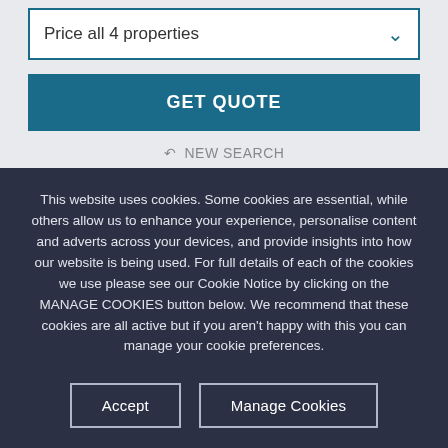Price all 4 properties
GET QUOTE
↺ NEW SEARCH
This website uses cookies. Some cookies are essential, while others allow us to enhance your experience, personalise content and adverts across your devices, and provide insights into how our website is being used. For full details of each of the cookies we use please see our Cookie Notice by clicking on the MANAGE COOKIES button below. We recommend that these cookies are all active but if you aren't happy with this you can manage your cookie preferences.
Accept
Manage Cookies